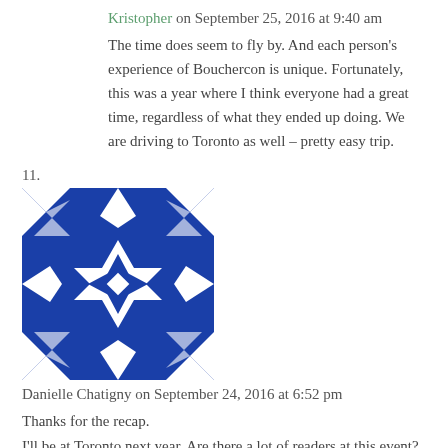Kristopher on September 25, 2016 at 9:40 am
The time does seem to fly by. And each person's experience of Bouchercon is unique. Fortunately, this was a year where I think everyone had a great time, regardless of what they ended up doing. We are driving to Toronto as well – pretty easy trip.
11.
[Figure (illustration): Blue and white decorative avatar icon with geometric star/flower pattern]
Danielle Chatigny on September 24, 2016 at 6:52 pm
Thanks for the recap.
I'll be at Toronto next year. Are there a lot of readers at this event?
Will I feel out of place ? I would like so much to meet you and some of the writers and bloggers I love.